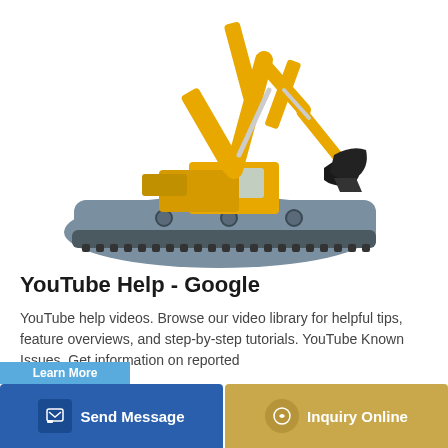[Figure (photo): Yellow crawler excavator mounted on a large amphibious pontoon/barge undercarriage, photographed on white background]
YouTube Help - Google
YouTube help videos. Browse our video library for helpful tips, feature overviews, and step-by-step tutorials. YouTube Known Issues. Get information on reported
Send Message
Inquiry Online
Learn More